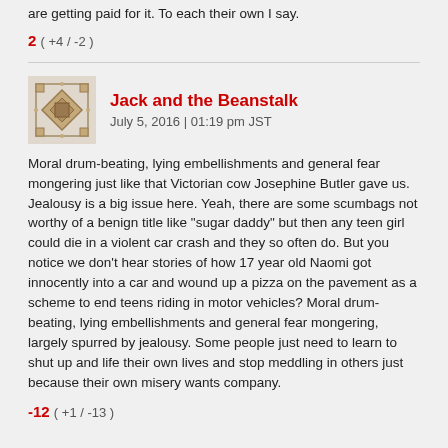are getting paid for it. To each their own I say.
2 ( +4 / -2 )
Jack and the Beanstalk
July 5, 2016 | 01:19 pm JST
Moral drum-beating, lying embellishments and general fear mongering just like that Victorian cow Josephine Butler gave us. Jealousy is a big issue here. Yeah, there are some scumbags not worthy of a benign title like "sugar daddy" but then any teen girl could die in a violent car crash and they so often do. But you notice we don't hear stories of how 17 year old Naomi got innocently into a car and wound up a pizza on the pavement as a scheme to end teens riding in motor vehicles? Moral drum-beating, lying embellishments and general fear mongering, largely spurred by jealousy. Some people just need to learn to shut up and life their own lives and stop meddling in others just because their own misery wants company.
-12 ( +1 / -13 )